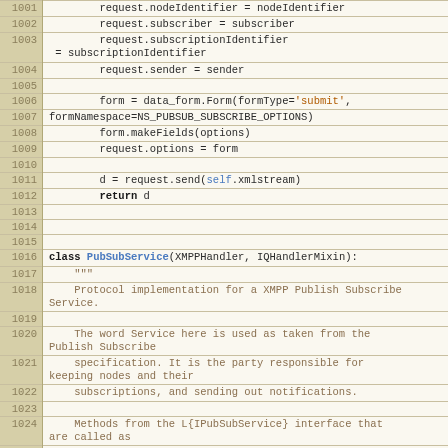Source code listing, lines 1001-1026, Python code for PubSubService class with subscribe/send logic and docstring.